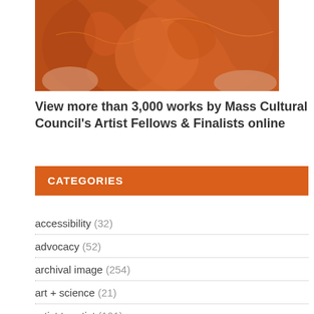[Figure (photo): Close-up photo of orange/red decorative ceramic or craft work, hands visible, warm tones]
View more than 3,000 works by Mass Cultural Council's Artist Fellows & Finalists online
CATEGORIES
accessibility (32)
advocacy (52)
archival image (254)
art + science (21)
artist to artist (101)
artist voices (416)